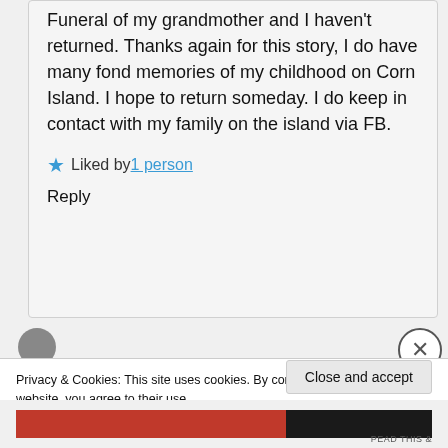Funeral of my grandmother and I haven't returned. Thanks again for this story, I do have many fond memories of my childhood on Corn Island. I hope to return someday. I do keep in contact with my family on the island via FB.
★ Liked by 1 person
Reply
Privacy & Cookies: This site uses cookies. By continuing to use this website, you agree to their use.
To find out more, including how to control cookies, see here: Cookie Policy
Close and accept